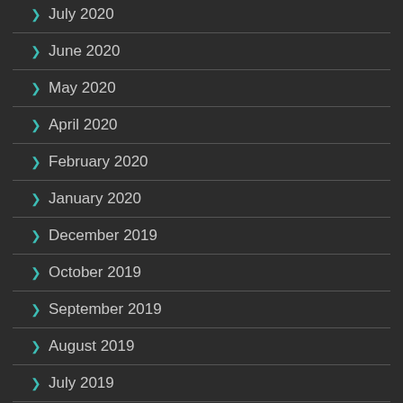July 2020
June 2020
May 2020
April 2020
February 2020
January 2020
December 2019
October 2019
September 2019
August 2019
July 2019
June 2019
May 2019
April 2019